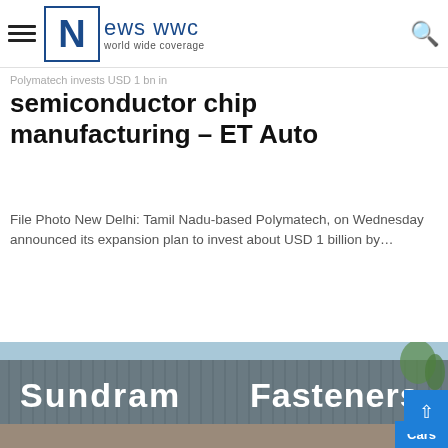News WWC - world wide coverage
Polymatech invests USD 1 bn in
semiconductor chip manufacturing – ET Auto
File Photo New Delhi: Tamil Nadu-based Polymatech, on Wednesday announced its expansion plan to invest about USD 1 billion by…
Read More »
[Figure (photo): Photograph of a Sundram Fasteners building exterior with large signage reading 'Sundram Fasteners' on a grey corrugated metal facade, with trees in the background.]
Cars